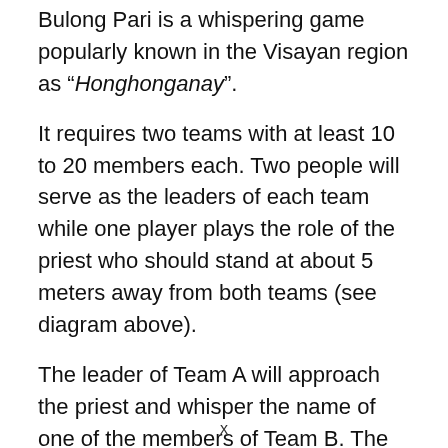Bulong Pari is a whispering game popularly known in the Visayan region as "Honghonganay".
It requires two teams with at least 10 to 20 members each. Two people will serve as the leaders of each team while one player plays the role of the priest who should stand at about 5 meters away from both teams (see diagram above).
The leader of Team A will approach the priest and whisper the name of one of the members of Team B. The priest then calls out "Lapit!" ("Approach") to summon one player from Team B.
x